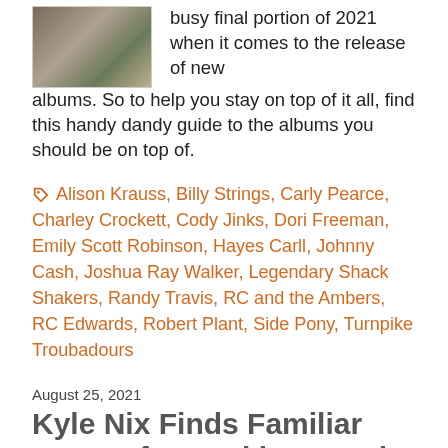[Figure (photo): Thumbnail image of album artwork or band photo]
busy final portion of 2021 when it comes to the release of new albums. So to help you stay on top of it all, find this handy dandy guide to the albums you should be on top of.
Alison Krauss, Billy Strings, Carly Pearce, Charley Crockett, Cody Jinks, Dori Freeman, Emily Scott Robinson, Hayes Carll, Johnny Cash, Joshua Ray Walker, Legendary Shack Shakers, Randy Travis, RC and the Ambers, RC Edwards, Robert Plant, Side Pony, Turnpike Troubadours
August 25, 2021
Kyle Nix Finds Familiar Names for Backing Band The 38's.
Trigger · News · 8 Comments